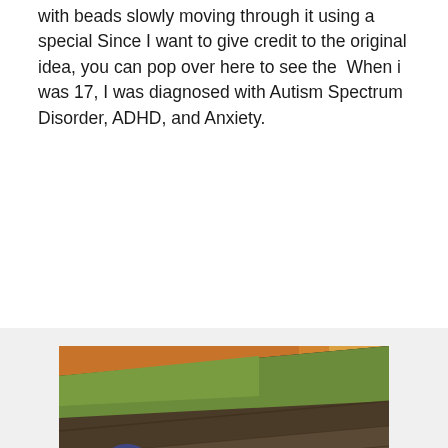with beads slowly moving through it using a special Since I want to give credit to the original idea, you can pop over here to see the  When i was 17, I was diagnosed with Autism Spectrum Disorder, ADHD, and Anxiety.
[Figure (photo): Close-up photograph of a mossy, weathered log lying on a bed of autumn leaves. The log has green moss and dark patches on its surface, with orange and brown fallen leaves surrounding it.]